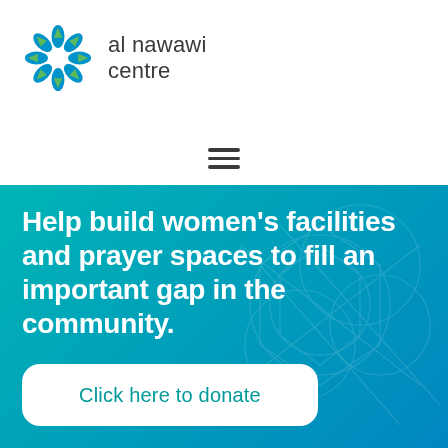[Figure (logo): Al Nawawi Centre logo — circular geometric flower/star pattern in teal and green, with text 'al nawawi centre' beside it]
Help build women’s facilities and prayer spaces to fill an important gap in the community.
Click here to donate